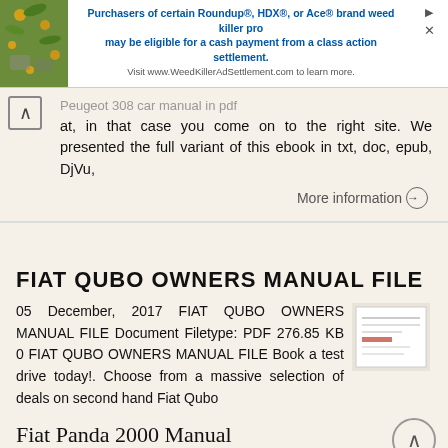[Figure (other): Advertisement banner: Purchasers of certain Roundup®, HDX®, or Ace® brand weed killer products may be eligible for a cash payment from a class action settlement. Visit www.WeedKillerAdSettlement.com to learn more.]
Peugeot 308 car manual in pdf, in that case you come on to the right site. We presented the full variant of this ebook in txt, doc, epub, DjVu,
More information →
FIAT QUBO OWNERS MANUAL FILE
05 December, 2017 FIAT QUBO OWNERS MANUAL FILE Document Filetype: PDF 276.85 KB 0 FIAT QUBO OWNERS MANUAL FILE Book a test drive today!. Choose from a massive selection of deals on second hand Fiat Qubo
More information →
Fiat Panda 2000 Manual